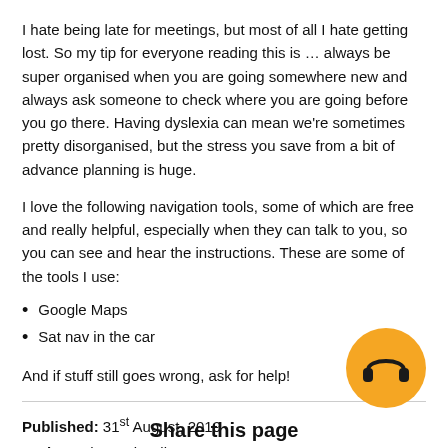I hate being late for meetings, but most of all I hate getting lost. So my tip for everyone reading this is … always be super organised when you are going somewhere new and always ask someone to check where you are going before you go there. Having dyslexia can mean we're sometimes pretty disorganised, but the stress you save from a bit of advance planning is huge.
I love the following navigation tools, some of which are free and really helpful, especially when they can talk to you, so you can see and hear the instructions. These are some of the tools I use:
Google Maps
Sat nav in the car
And if stuff still goes wrong, ask for help!
Published: 31st August, 2019
Author: Shae Wissell
[Figure (illustration): Orange circle with black headphones icon]
Share this page